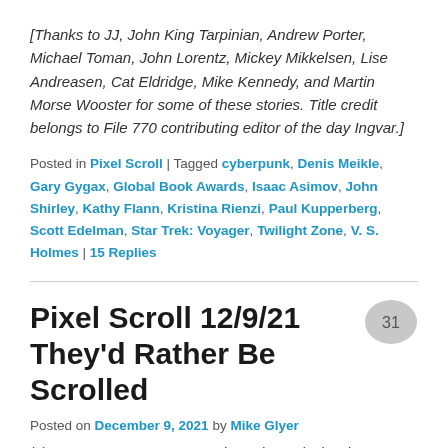[Thanks to JJ, John King Tarpinian, Andrew Porter, Michael Toman, John Lorentz, Mickey Mikkelsen, Lise Andreasen, Cat Eldridge, Mike Kennedy, and Martin Morse Wooster for some of these stories. Title credit belongs to File 770 contributing editor of the day Ingvar.]
Posted in Pixel Scroll | Tagged cyberpunk, Denis Meikle, Gary Gygax, Global Book Awards, Isaac Asimov, John Shirley, Kathy Flann, Kristina Rienzi, Paul Kupperberg, Scott Edelman, Star Trek: Voyager, Twilight Zone, V. S. Holmes | 15 Replies
Pixel Scroll 12/9/21 They'd Rather Be Scrolled
Posted on December 9, 2021 by Mike Glyer
(1) DIANA RIGG ESTATE. Bonhams is auctioning the Estate of the Late Dame Diana Rigg on December 14.